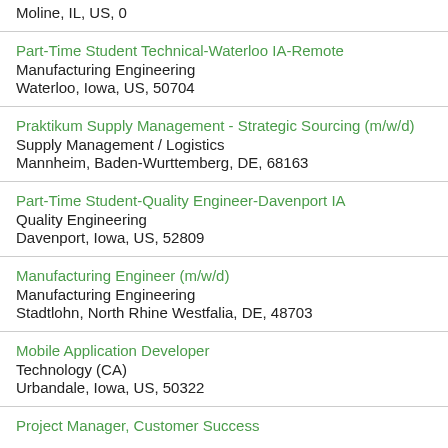Moline, IL, US, 0
Part-Time Student Technical-Waterloo IA-Remote | Manufacturing Engineering | Waterloo, Iowa, US, 50704
Praktikum Supply Management - Strategic Sourcing (m/w/d) | Supply Management / Logistics | Mannheim, Baden-Wurttemberg, DE, 68163
Part-Time Student-Quality Engineer-Davenport IA | Quality Engineering | Davenport, Iowa, US, 52809
Manufacturing Engineer (m/w/d) | Manufacturing Engineering | Stadtlohn, North Rhine Westfalia, DE, 48703
Mobile Application Developer | Technology (CA) | Urbandale, Iowa, US, 50322
Project Manager, Customer Success